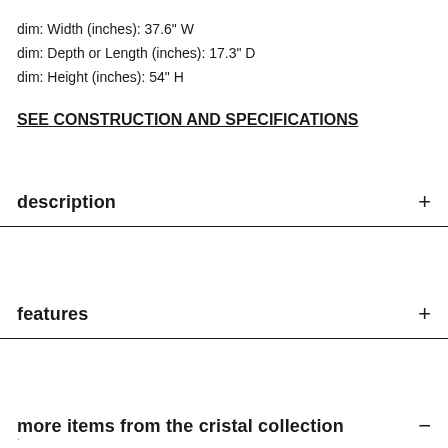dim: Width (inches): 37.6" W
dim: Depth or Length (inches): 17.3" D
dim: Height (inches): 54" H
SEE CONSTRUCTION AND SPECIFICATIONS
description
features
more items from the cristal collection